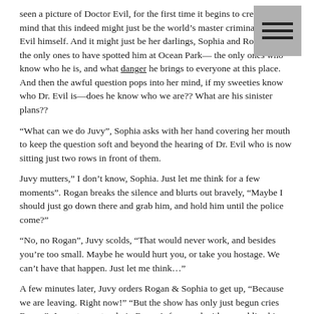seen a picture of Doctor Evil, for the first time it begins to creep into her mind that this indeed might just be the world’s master criminal, Doctor Evil himself. And it might just be her darlings, Sophia and Rogan are the only ones to have spotted him at Ocean Park― the only ones who know who he is, and what danger he brings to everyone at this place. And then the awful question pops into her mind, if my sweeties know who Dr. Evil is―does he know who we are?? What are his sinister plans??
“What can we do Juvy”, Sophia asks with her hand covering her mouth to keep the question soft and beyond the hearing of Dr. Evil who is now sitting just two rows in front of them.
Juvy mutters,” I don’t know, Sophia. Just let me think for a few moments”. Rogan breaks the silence and blurts out bravely, “Maybe I should just go down there and grab him, and hold him until the police come?”
“No, no Rogan”, Juvy scolds, “That would never work, and besides you’re too small. Maybe he would hurt you, or take you hostage. We can’t have that happen. Just let me think…”
A few minutes later, Juvy orders Rogan & Sophia to get up, “Because we are leaving. Right now!” “But the show has only just begun cries Rogan”. Juvy stares sternly in Rogan’s face, and with pursed lips hisses, “Let’s go. Let’s get out of here, and let’s not argue about it”. Sophia takes Rogan’s hand and tells him, “We must do what Aunty says,””as they work their way towards the nearby exit.